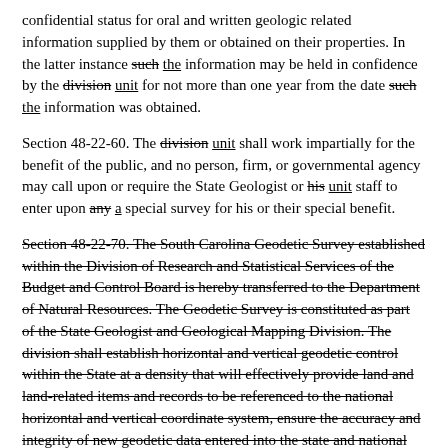confidential status for oral and written geologic related information supplied by them or obtained on their properties. In the latter instance such the information may be held in confidence by the division unit for not more than one year from the date such the information was obtained.
Section 48-22-60. The division unit shall work impartially for the benefit of the public, and no person, firm, or governmental agency may call upon or require the State Geologist or his unit staff to enter upon any a special survey for his or their special benefit.
Section 48-22-70. The South Carolina Geodetic Survey established within the Division of Research and Statistical Services of the Budget and Control Board is hereby transferred to the Department of Natural Resources. The Geodetic Survey is constituted as part of the State Geologist and Geological Mapping Division. The division shall establish horizontal and vertical geodetic control within the State at a density that will effectively provide land and land-related items and records to be referenced to the national horizontal and vertical coordinate system, ensure the accuracy and integrity of new geodetic data entered into the state and national reference system, maintain geodetic files for the State, and disseminate geodetic information as necessary.
Section 48-22-80. The division, under the auspices of the department, shall have the responsibility for mediating questions...